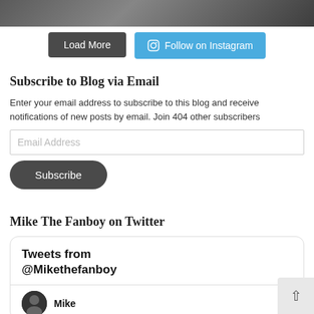[Figure (photo): Partial photo strip visible at top of page, showing a person in formal attire]
Load More
Follow on Instagram
Subscribe to Blog via Email
Enter your email address to subscribe to this blog and receive notifications of new posts by email. Join 404 other subscribers
Email Address
Subscribe
Mike The Fanboy on Twitter
Tweets from @Mikethefanboy
Mike